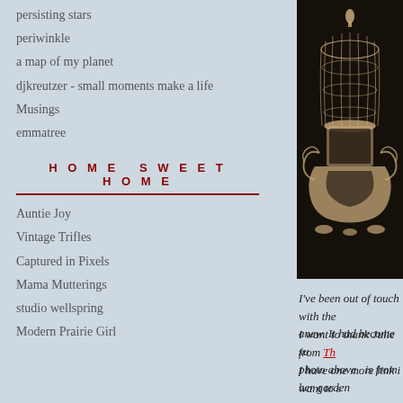persisting stars
periwinkle
a map of my planet
djkreutzer - small moments make a life
Musings
emmatree
HOME SWEET HOME
Auntie Joy
Vintage Trifles
Captured in Pixels
Mama Mutterings
studio wellspring
Modern Prairie Girl
[Figure (photo): Sepia-toned vintage photograph of an ornate decorative birdcage with baroque scrollwork base against a dark background]
I've been out of touch with the anew. It had become su
I want to thank Julie from Th photo above  is from her garden
I have one more link i want to s
[Figure (photo): Partial view of reddish-brown image at bottom right]